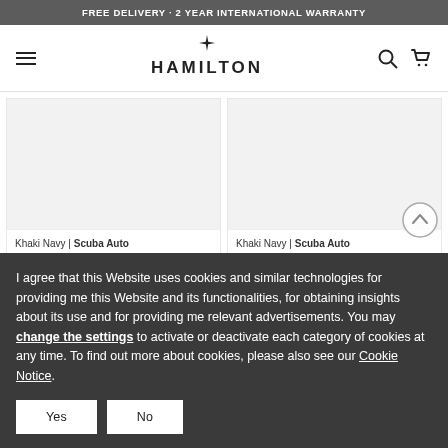FREE DELIVERY · 2 YEAR INTERNATIONAL WARRANTY
[Figure (logo): Hamilton watch brand logo with star/cross symbol above the HAMILTON wordmark]
Khaki Navy | Scuba Auto
CHF 695.00
Khaki Navy | Scuba Auto
CHF 775.00
I agree that this Website uses cookies and similar technologies for providing me this Website and its functionalities, for obtaining insights about its use and for providing me relevant advertisements. You may change the settings to activate or deactivate each category of cookies at any time. To find out more about cookies, please also see our Cookie Notice.
Yes
No